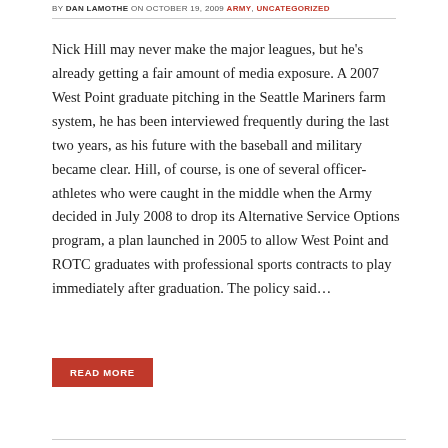BY DAN LAMOTHE ON OCTOBER 19, 2009 ARMY, UNCATEGORIZED
Nick Hill may never make the major leagues, but he's already getting a fair amount of media exposure. A 2007 West Point graduate pitching in the Seattle Mariners farm system, he has been interviewed frequently during the last two years, as his future with the baseball and military became clear. Hill, of course, is one of several officer-athletes who were caught in the middle when the Army decided in July 2008 to drop its Alternative Service Options program, a plan launched in 2005 to allow West Point and ROTC graduates with professional sports contracts to play immediately after graduation. The policy said…
READ MORE